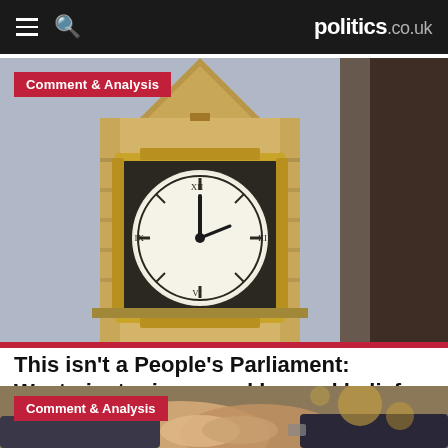politics.co.uk
[Figure (photo): Close-up upward-angle photograph of Big Ben clock tower (Elizabeth Tower, Westminster) showing the clock face with ornate golden details against a grey sky]
Comment & Analysis
This isn't a People's Parliament: Westminster is warped beyond belief
[Figure (photo): Close-up photograph of two people in business attire shaking hands, with a blurred background showing warm bokeh lights]
Comment & Analysis